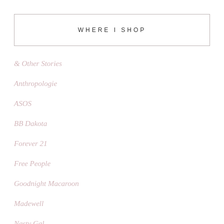WHERE I SHOP
& Other Stories
Anthropologie
ASOS
BB Dakota
Forever 21
Free People
Goodnight Macaroon
Madewell
Nasty Gal